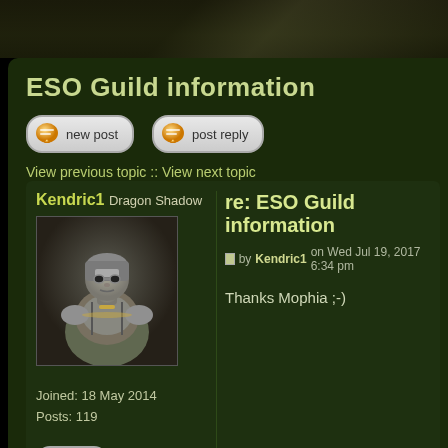ESO Guild information
[Figure (screenshot): New post button with orange speech bubble icon]
[Figure (screenshot): Post reply button with orange speech bubble icon]
View previous topic :: View next topic
Kendric1
Dragon Shadow
[Figure (photo): Avatar image of a warrior character in armor]
Joined: 18 May 2014
Posts: 119
[Figure (screenshot): PM button with envelope icon]
re: ESO Guild information
by Kendric1 on Wed Jul 19, 2017 6:34 pm
Thanks Mophia ;-)